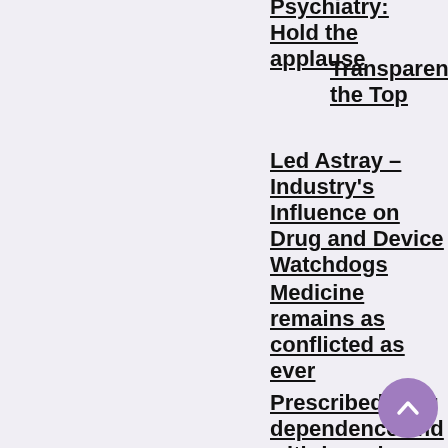Psychiatry: Hold the applause
Transparency at the Top
Led Astray – Industry's Influence on Drug and Device Watchdogs
Medicine remains as conflicted as ever
Prescribed drug dependence and withdrawal
A timeline of missed opportunities
Antidepressant prescribing and